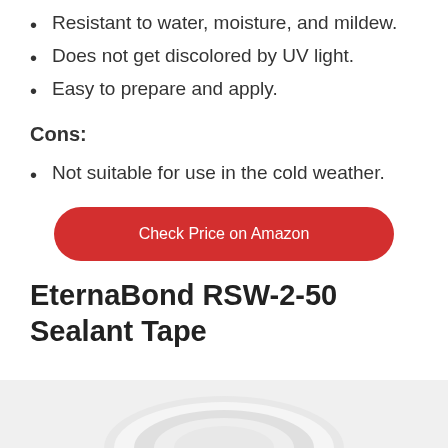Resistant to water, moisture, and mildew.
Does not get discolored by UV light.
Easy to prepare and apply.
Cons:
Not suitable for use in the cold weather.
Check Price on Amazon
EternaBond RSW-2-50 Sealant Tape
[Figure (photo): Partial view of a white roll of EternaBond RSW-2-50 Sealant Tape product at bottom of page]